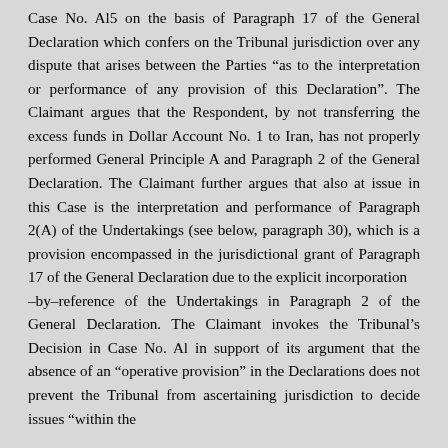Case No. Al5 on the basis of Paragraph 17 of the General Declaration which confers on the Tribunal jurisdic tion over any dispute that arises between the Parties "as to the interpretation or performance of any provision of this Declaration". The Claimant argues that the Respondent, by not transferring the excess funds in Dollar Account No. 1 to Iran, has not properly performed General Principle A and Paragraph 2 of the General Declaration. The Claimant further argues that also at issue in this Case is the interpretation and performance of Paragraph 2(A) of the Undertakings (see below, paragraph 30), which is a provision encompassed in the jurisdictional grant of Paragraph 17 of the General Declaration due to the explicit incorporation
–by–reference of the Undertakings in Paragraph 2 of the General Declaration. The Claimant invokes the Tribunal's Decision in Case No. Al in support of its argument that the absence of an "operative provision" in the Declarations does not prevent the Tribunal from ascertaining jurisdiction to decide issues "within the